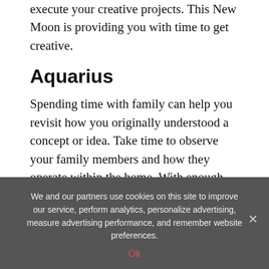a great time to reimagine life and reconsider how you execute your creative projects. This New Moon is providing you with time to get creative.
Aquarius
Spending time with family can help you revisit how you originally understood a concept or idea. Take time to observe your family members and how they operate within the home. With enough time, it’ll be easy to appreciate what you have, and then make art with it. Under this New Moon, keep an open mind and try not to overthink creativity. It’s possible you’re overlooking art because you’re become too comfortable—try thinking in
We and our partners use cookies on this site to improve our service, perform analytics, personalize advertising, measure advertising performance, and remember website preferences.
Ok